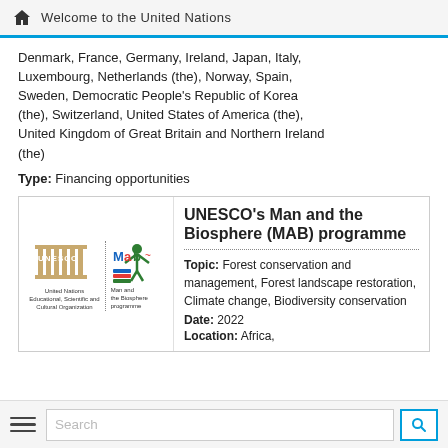Welcome to the United Nations
Denmark, France, Germany, Ireland, Japan, Italy, Luxembourg, Netherlands (the), Norway, Spain, Sweden, Democratic People's Republic of Korea (the), Switzerland, United States of America (the), United Kingdom of Great Britain and Northern Ireland (the)
Type: Financing opportunities
[Figure (logo): UNESCO and Man and the Biosphere (MAB) programme logos side by side]
UNESCO's Man and the Biosphere (MAB) programme
Topic: Forest conservation and management, Forest landscape restoration, Climate change, Biodiversity conservation
Date: 2022
Location: Africa,
Search